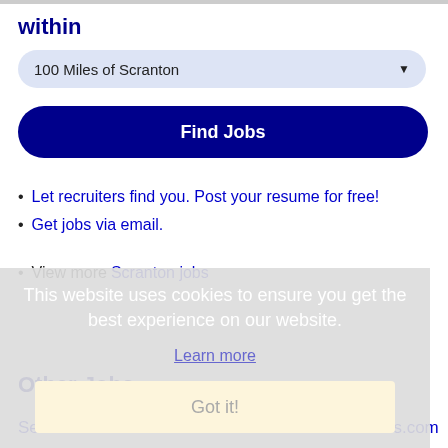within
100 Miles of Scranton
Find Jobs
Let recruiters find you. Post your resume for free!
Get jobs via email.
View more Scranton jobs
This website uses cookies to ensure you get the best experience on our website.
Learn more
Got it!
Other Jobs
Seasonal Travel Nurse Jobs - HealthCareTravelers.com